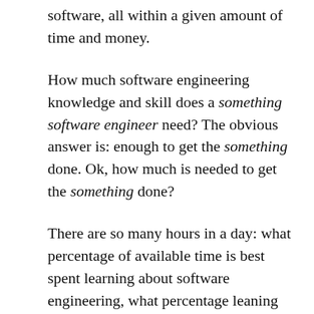software, all within a given amount of time and money.
How much software engineering knowledge and skill does a something software engineer need? The obvious answer is: enough to get the something done. Ok, how much is needed to get the something done?
There are so many hours in a day: what percentage of available time is best spent learning about software engineering, what percentage leaning about the something and what percentage doing rather than learning?
The only data I have for answering this question is my own experience of talking to people, from a wide range of business and application areas, whose job includes writing software. My background is compilers (from C to Cobol) and static analysis, my knowledge of end-user application domains is derived from talking to the